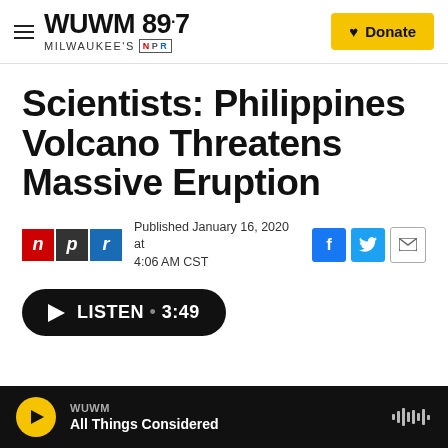WUWM 89.7 Milwaukee's NPR | Donate
Scientists: Philippines Volcano Threatens Massive Eruption
Published January 16, 2020 at 4:06 AM CST
[Figure (other): LISTEN • 3:49 audio play button]
WUWM All Things Considered